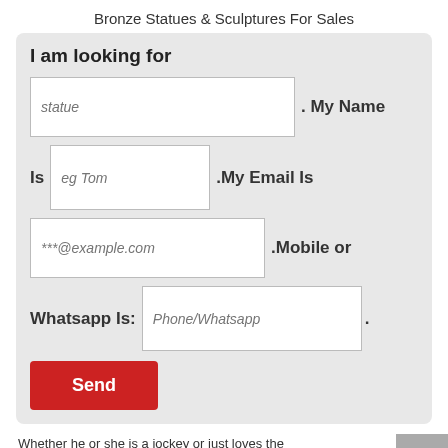Bronze Statues & Sculptures For Sales
[Figure (screenshot): A web form with heading 'I am looking for', fields for statue, name, email, phone/whatsapp, and a red Send button]
Whether he or she is a jockey or just loves the memories made around these majestic animals, the horse sculpture designs from YOU FINE ART SCULPTURE...